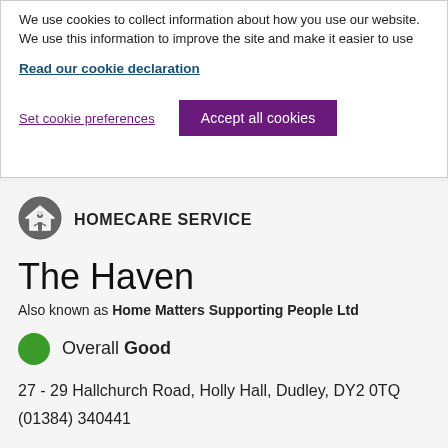We use cookies to collect information about how you use our website. We use this information to improve the site and make it easier to use
Read our cookie declaration
Set cookie preferences
Accept all cookies
HOMECARE SERVICE
The Haven
Also known as Home Matters Supporting People Ltd
Overall Good
27 - 29 Hallchurch Road, Holly Hall, Dudley, DY2 0TQ
(01384) 340441